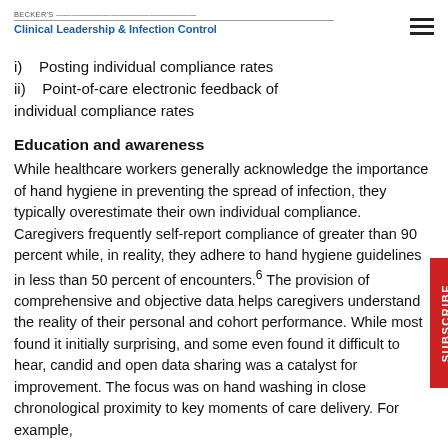BECKER'S Clinical Leadership & Infection Control
i)    Posting individual compliance rates
ii)    Point-of-care electronic feedback of individual compliance rates
Education and awareness
While healthcare workers generally acknowledge the importance of hand hygiene in preventing the spread of infection, they typically overestimate their own individual compliance. Caregivers frequently self-report compliance of greater than 90 percent while, in reality, they adhere to hand hygiene guidelines in less than 50 percent of encounters.6 The provision of comprehensive and objective data helps caregivers understand the reality of their personal and cohort performance. While most found it initially surprising, and some even found it difficult to hear, candid and open data sharing was a catalyst for improvement. The focus was on hand washing in close chronological proximity to key moments of care delivery. For example,